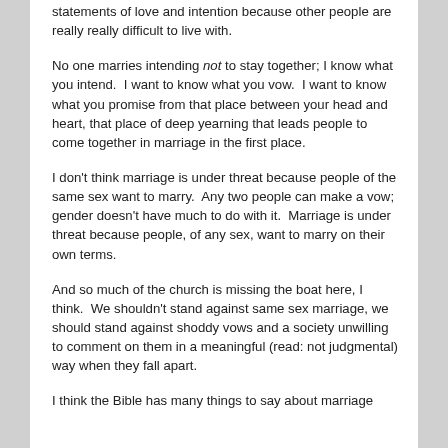statements of love and intention because other people are really really difficult to live with.
No one marries intending not to stay together; I know what you intend.  I want to know what you vow.  I want to know what you promise from that place between your head and heart, that place of deep yearning that leads people to come together in marriage in the first place.
I don't think marriage is under threat because people of the same sex want to marry.  Any two people can make a vow; gender doesn't have much to do with it.  Marriage is under threat because people, of any sex, want to marry on their own terms.
And so much of the church is missing the boat here, I think.  We shouldn't stand against same sex marriage, we should stand against shoddy vows and a society unwilling to comment on them in a meaningful (read: not judgmental) way when they fall apart.
I think the Bible has many things to say about marriage